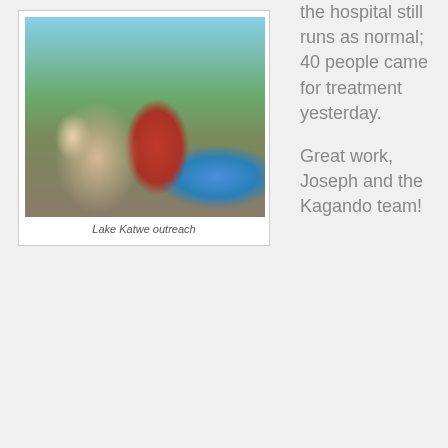[Figure (photo): Group of people gathered outdoors at Lake Katwe outreach event; a woman in red dress and headscarf sits in the center with others around her, blue basin visible in foreground]
Lake Katwe outreach
the hospital still runs as normal; 40 people came for treatment yesterday.
Great work, Joseph and the Kagando team!